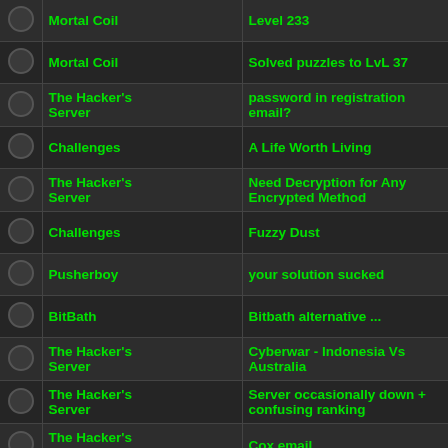|  | Category | Topic |
| --- | --- | --- |
|  | Mortal Coil | Level 233 |
|  | Mortal Coil | Solved puzzles to LvL 37 |
|  | The Hacker's Server | password in registration email? |
|  | Challenges | A Life Worth Living |
|  | The Hacker's Server | Need Decryption for Any Encrypted Method |
|  | Challenges | Fuzzy Dust |
|  | Pusherboy | your solution sucked |
|  | BitBath | Bitbath alternative ... |
|  | The Hacker's Server | Cyberwar - Indonesia Vs Australia |
|  | The Hacker's Server | Server occasionally down + confusing ranking |
|  | The Hacker's Server | Cox email |
|  | Wormageddon | Can I start a duel by myself? |
|  | General | Crowdfunding campaign for the Global Processing Unit project |